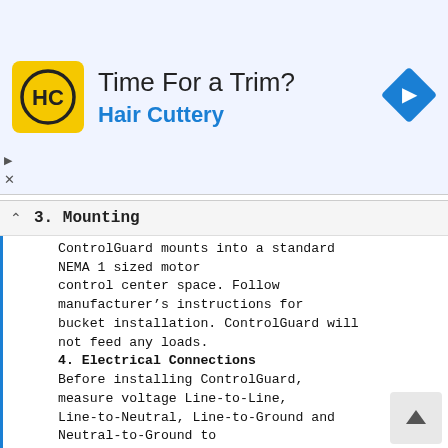[Figure (other): Advertisement banner for Hair Cuttery salon with logo, headline 'Time For a Trim?', subheading 'Hair Cuttery', and a blue navigation arrow icon on the right.]
3. Mounting
ControlGuard mounts into a standard NEMA 1 sized motor control center space. Follow manufacturer’s instructions for bucket installation. ControlGuard will not feed any loads.
4. Electrical Connections
Before installing ControlGuard, measure voltage Line-to-Line, Line-to-Neutral, Line-to-Ground and Neutral-to-Ground to ensure that it does not exceed ±10% of the nominal rated voltage for the unit. Contact factory if these tolerances are exceeded. For some applications, a neutral conductor must